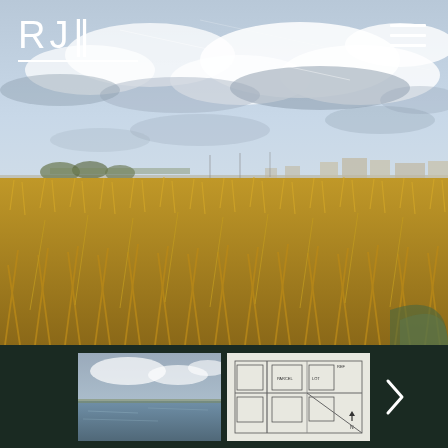[Figure (photo): Outdoor landscape photo showing dry golden prairie grass in foreground with a partly cloudy sky and distant suburban buildings on the horizon]
[Figure (photo): Thumbnail of a body of water or lake with cloudy sky]
[Figure (schematic): Thumbnail of an architectural or engineering site plan/blueprint drawing]
RJII
hamburger menu icon (three horizontal lines)